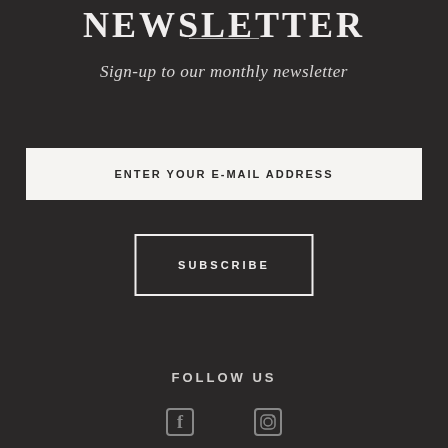NEWSLETTER
Sign-up to our monthly newsletter
ENTER YOUR E-MAIL ADDRESS
SUBSCRIBE
FOLLOW US